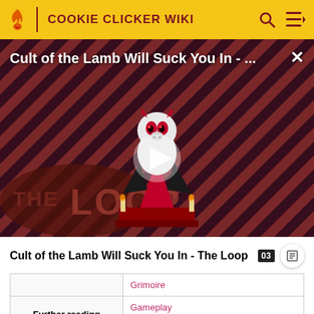COOKIE CLICKER WIKI
[Figure (screenshot): Video thumbnail for 'Cult of the Lamb Will Suck You In - The Loop' showing a cartoon lamb character with red eyes in a cult leader outfit, standing on a red platform. Diagonal red and black stripe background. 'THE LOOP' text in large letters at bottom left. White play button triangle in center. Close (X) button top right. Title overlay at top: 'Cult of the Lamb Will Suck You In - ...']
Cult of the Lamb Will Suck You In - The Loop
|  | Grimoire |
| Further reading | Gameplay
This box: view • talk • edit |